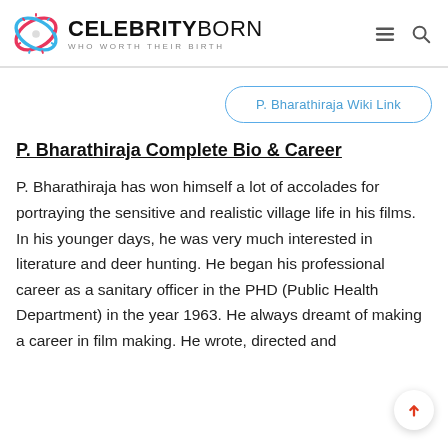CELEBRITYBORN WHO WORTH THEIR BIRTH
P. Bharathiraja Wiki Link
P. Bharathiraja Complete Bio & Career
P. Bharathiraja has won himself a lot of accolades for portraying the sensitive and realistic village life in his films. In his younger days, he was very much interested in literature and deer hunting. He began his professional career as a sanitary officer in the PHD (Public Health Department) in the year 1963. He always dreamt of making a career in film making. He wrote, directed and